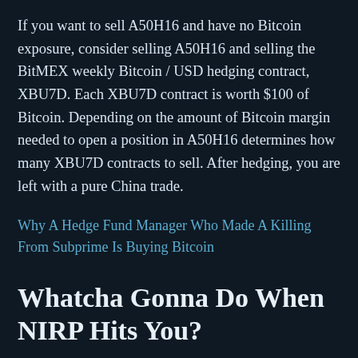If you want to sell A50H16 and have no Bitcoin exposure, consider selling A50H16 and selling the BitMEX weekly Bitcoin / USD hedging contract, XBU7D. Each XBU7D contract is worth $100 of Bitcoin. Depending on the amount of Bitcoin margin needed to open a position in A50H16 determines how many XBU7D contracts to sell. After hedging, you are left with a pure China trade.
Why A Hedge Fund Manager Who Made A Killing From Subprime Is Buying Bitcoin
Whatcha Gonna Do When NIRP Hits You?